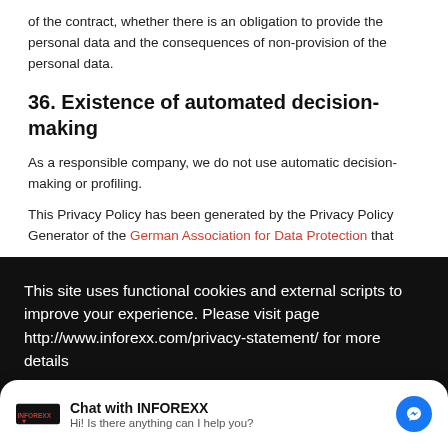of the contract, whether there is an obligation to provide the personal data and the consequences of non-provision of the personal data.
36. Existence of automated decision-making
As a responsible company, we do not use automatic decision-making or profiling.
This Privacy Policy has been generated by the Privacy Policy Generator of the German Association for Data Protection that
This site uses functional cookies and external scripts to improve your experience. Please visit page http://www.inforexx.com/privacy-statement/ for more details
Chat with INFOREXX
Hi! Is there anything can I help you?
Terms of Use   Contact